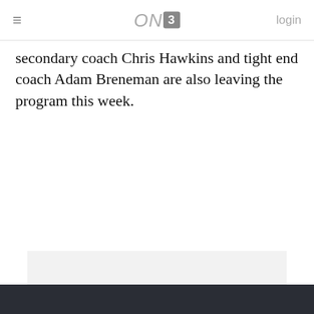ON3 | login
secondary coach Chris Hawkins and tight end coach Adam Breneman are also leaving the program this week.
[Figure (other): Advertisement placeholder box with light gray background and 'ADVERTISEMENT' text label in center]